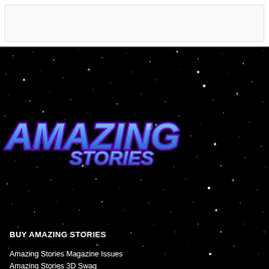[Figure (illustration): Top white navigation/search bar area with light gray border]
[Figure (photo): Deep space starfield background — black sky with numerous colorful stars (white, orange, red, blue) scattered across the field]
[Figure (logo): Amazing Stories logo in large italic blue gradient lettering with purple shadow/outline and registered trademark symbol]
BUY AMAZING STORIES
Amazing Stories Magazine Issues
Amazing Stories 3D Swag
Amazing Stories Swag